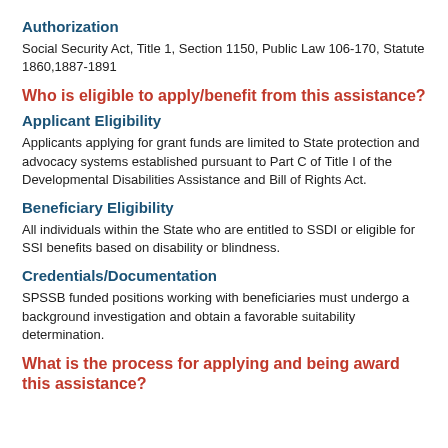Authorization
Social Security Act, Title 1, Section 1150, Public Law 106-170, Statute 1860,1887-1891
Who is eligible to apply/benefit from this assistance?
Applicant Eligibility
Applicants applying for grant funds are limited to State protection and advocacy systems established pursuant to Part C of Title I of the Developmental Disabilities Assistance and Bill of Rights Act.
Beneficiary Eligibility
All individuals within the State who are entitled to SSDI or eligible for SSI benefits based on disability or blindness.
Credentials/Documentation
SPSSB funded positions working with beneficiaries must undergo a background investigation and obtain a favorable suitability determination.
What is the process for applying and being award this assistance?